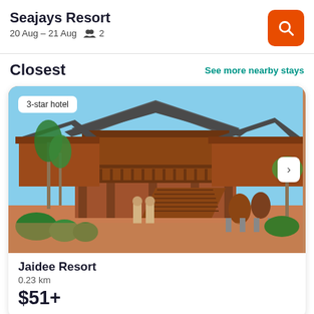Seajays Resort
20 Aug – 21 Aug  2
Closest
See more nearby stays
[Figure (photo): Photo of Jaidee Resort — a Thai-style wooden multi-storey resort with ornate roofing, balconies, staircases, palm trees, and two staff members in traditional dress standing at the entrance. Badge reads '3-star hotel'. Arrow button on right side.]
Jaidee Resort
0.23 km
$51+